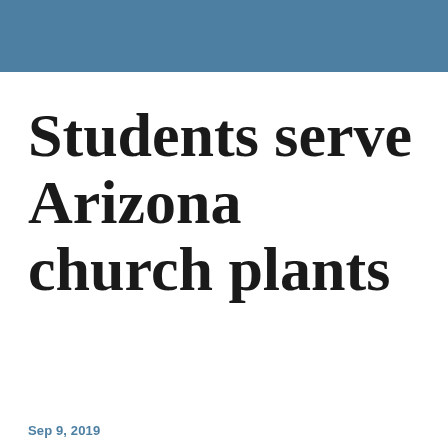Students serve Arizona church plants
Sep 9, 2019